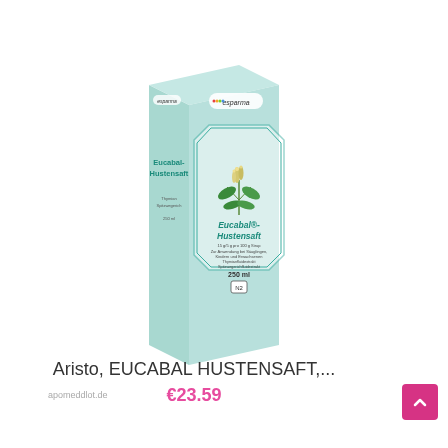[Figure (photo): Product photo of Eucabal Hustensaft cough syrup box by esparma. Light mint/teal colored box showing herb illustration with 'Eucabal-Hustensaft' text, 250ml, N2 size designation.]
apomeddlot.de
Aristo, EUCABAL HUSTENSAFT,...
€23.59